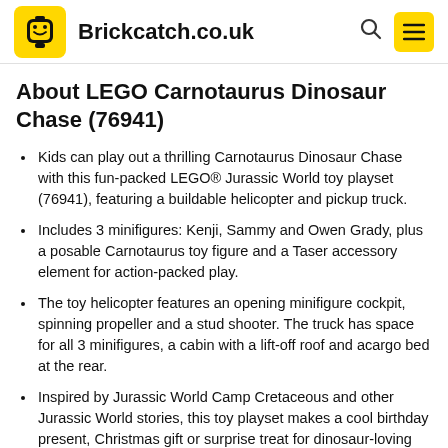Brickcatch.co.uk
About LEGO Carnotaurus Dinosaur Chase (76941)
Kids can play out a thrilling Carnotaurus Dinosaur Chase with this fun-packed LEGO® Jurassic World toy playset (76941), featuring a buildable helicopter and pickup truck.
Includes 3 minifigures: Kenji, Sammy and Owen Grady, plus a posable Carnotaurus toy figure and a Taser accessory element for action-packed play.
The toy helicopter features an opening minifigure cockpit, spinning propeller and a stud shooter. The truck has space for all 3 minifigures, a cabin with a lift-off roof and acargo bed at the rear.
Inspired by Jurassic World Camp Cretaceous and other Jurassic World stories, this toy playset makes a cool birthday present, Christmas gift or surprise treat for dinosaur-loving kids aged 7 and up.